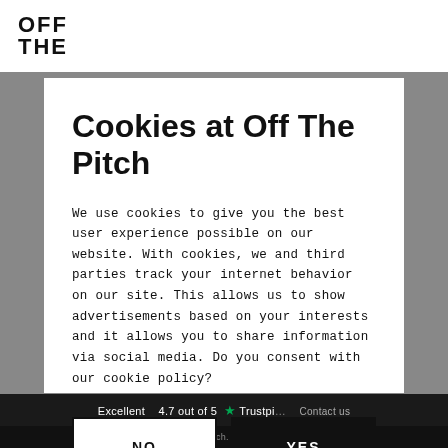[Figure (logo): Off The Pitch logo — stylized bold block letters 'OFT THE' stacked in two rows]
Cookies at Off The Pitch
We use cookies to give you the best user experience possible on our website. With cookies, we and third parties track your internet behavior on our site. This allows us to show advertisements based on your interests and it allows you to share information via social media. Do you consent with our cookie policy?
NO
YES
Excellent   4.7 out of 5  ★ Trustpilot   Contact us
© 2022 Off The Pitch. All rights reserved.